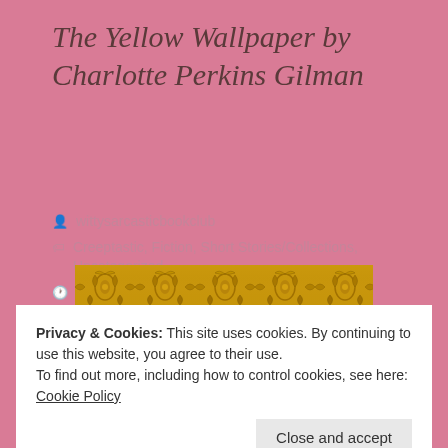The Yellow Wallpaper by Charlotte Perkins Gilman
wittysarcasticbookclub
Creeptastic, Fiction, Short Stories/Collections, Uncategorized
June 6, 2020
[Figure (photo): Gold/yellow ornate wallpaper pattern with floral and scroll designs]
Privacy & Cookies: This site uses cookies. By continuing to use this website, you agree to their use.
To find out more, including how to control cookies, see here: Cookie Policy